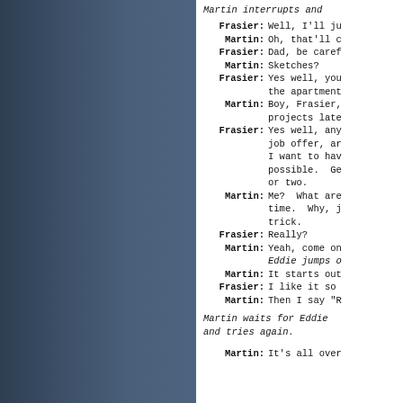Martin interrupts and
Frasier: Well, I'll ju
Martin: Oh, that'll c
Frasier: Dad, be caref
Martin: Sketches?
Frasier: Yes well, you the apartment
Martin: Boy, Frasier, projects late
Frasier: Yes well, any job offer, ar I want to hav possible. Ge or two.
Martin: Me? What are time. Why, j trick.
Frasier: Really?
Martin: Yeah, come on
Eddie jumps o
Martin: It starts out
Frasier: I like it so
Martin: Then I say "R
Martin waits for Eddie and tries again.
Martin: It's all over